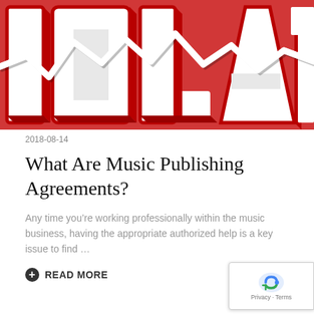[Figure (illustration): Hero image showing large 3D red letters spelling 'IOLATI' (partial word 'VIOLATION' or 'ISOLATION') with a white jagged line/crack running through the letters on a red background.]
2018-08-14
What Are Music Publishing Agreements?
Any time you’re working professionally within the music business, having the appropriate authorized help is a key issue to find …
READ MORE